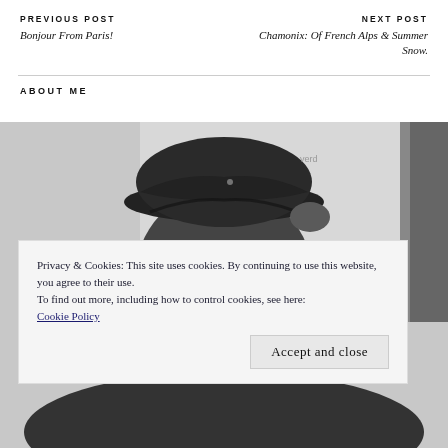PREVIOUS POST
Bonjour From Paris!
NEXT POST
Chamonix: Of French Alps & Summer Snow.
ABOUT ME
[Figure (photo): Black and white photo of a person wearing a dark knit cap/beret, viewed from behind or side angle, with a light wall in the background]
Privacy & Cookies: This site uses cookies. By continuing to use this website, you agree to their use.
To find out more, including how to control cookies, see here: Cookie Policy
Accept and close